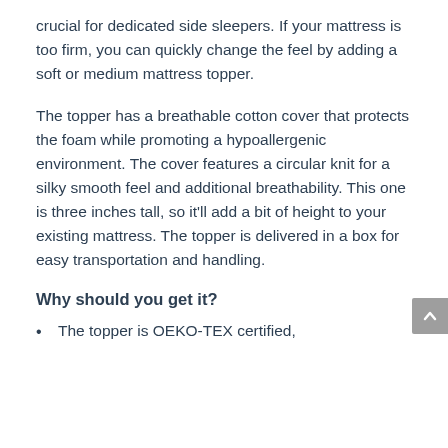crucial for dedicated side sleepers. If your mattress is too firm, you can quickly change the feel by adding a soft or medium mattress topper.
The topper has a breathable cotton cover that protects the foam while promoting a hypoallergenic environment. The cover features a circular knit for a silky smooth feel and additional breathability. This one is three inches tall, so it'll add a bit of height to your existing mattress. The topper is delivered in a box for easy transportation and handling.
Why should you get it?
The topper is OEKO-TEX certified,